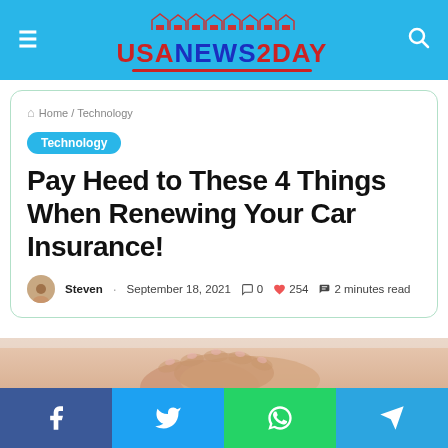USANEWS2DAY
Home / Technology
Technology
Pay Heed to These 4 Things When Renewing Your Car Insurance!
Steven · September 18, 2021 · 0 · 254 · 2 minutes read
[Figure (photo): Hands clasped together, person wearing white, close-up photo]
Facebook | Twitter | WhatsApp | Telegram